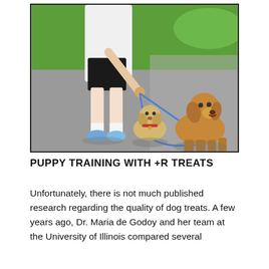[Figure (photo): A person bending down toward two dogs on leashes on a paved path outdoors. A small yellow Labrador puppy sits on the left looking up at the person's hand, and a larger adult golden retriever sits on the right. The person is wearing a white shirt, black shorts, and colorful sneakers. Green grass and a path are visible in the background.]
PUPPY TRAINING WITH +R TREATS
Unfortunately, there is not much published research regarding the quality of dog treats. A few years ago, Dr. Maria de Godoy and her team at the University of Illinois compared several